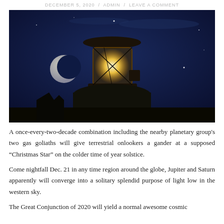DECEMBER 5, 2020 / ADMIN / LEAVE A COMMENT
[Figure (photo): Night sky photo showing a lighthouse lantern room glowing warmly, with a crescent moon to the left and stars visible in the dark blue sky]
A once-every-two-decade combination including the nearby planetary group's two gas goliaths will give terrestrial onlookers a gander at a supposed “Christmas Star” on the colder time of year solstice.
Come nightfall Dec. 21 in any time region around the globe, Jupiter and Saturn apparently will converge into a solitary splendid purpose of light low in the western sky.
The Great Conjunction of 2020 will yield a normal awesome cosmic